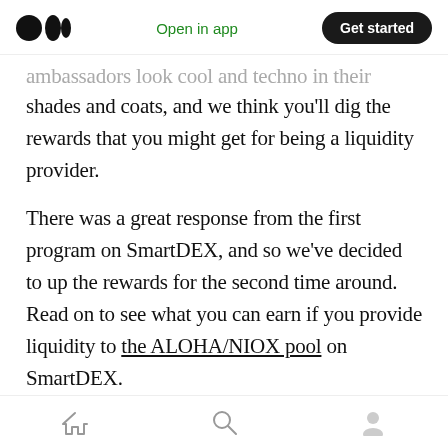Open in app | Get started
ambassadors look cool and techno in their shades and coats, and we think you'll dig the rewards that you might get for being a liquidity provider.
There was a great response from the first program on SmartDEX, and so we've decided to up the rewards for the second time around. Read on to see what you can earn if you provide liquidity to the ALOHA/NIOX pool on SmartDEX.
Aloha on SmartDEX
Liquidity provision is a critical part of the DeFi
Home | Search | Profile